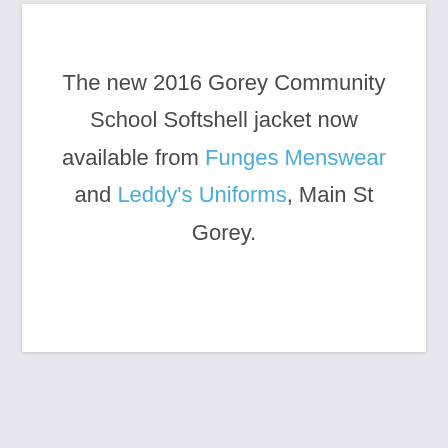The new 2016 Gorey Community School Softshell jacket now available from Funges Menswear and Leddy's Uniforms, Main St Gorey.